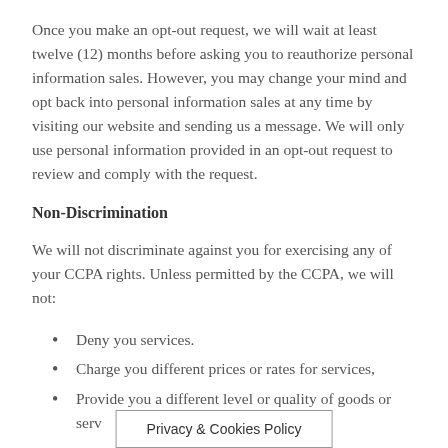Once you make an opt-out request, we will wait at least twelve (12) months before asking you to reauthorize personal information sales. However, you may change your mind and opt back into personal information sales at any time by visiting our website and sending us a message. We will only use personal information provided in an opt-out request to review and comply with the request.
Non-Discrimination
We will not discriminate against you for exercising any of your CCPA rights. Unless permitted by the CCPA, we will not:
Deny you services.
Charge you different prices or rates for services,
Provide you a different level or quality of goods or serv...
Privacy & Cookies Policy